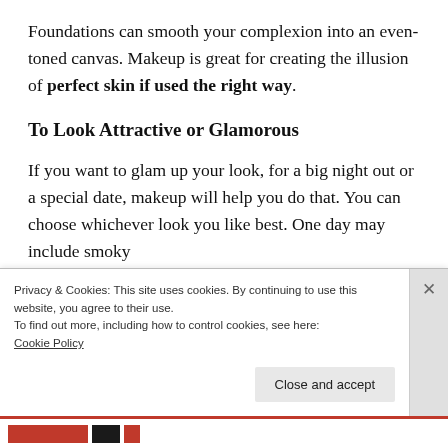Foundations can smooth your complexion into an even-toned canvas. Makeup is great for creating the illusion of perfect skin if used the right way.
To Look Attractive or Glamorous
If you want to glam up your look, for a big night out or a special date, makeup will help you do that. You can choose whichever look you like best. One day may include smoky
Privacy & Cookies: This site uses cookies. By continuing to use this website, you agree to their use.
To find out more, including how to control cookies, see here:
Cookie Policy
Close and accept